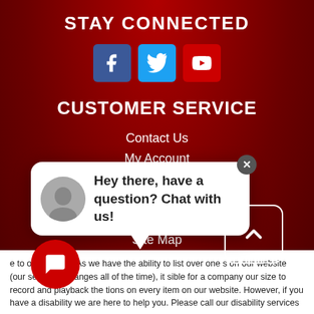STAY CONNECTED
[Figure (illustration): Social media icons: Facebook (blue), Twitter (blue), YouTube (red)]
CUSTOMER SERVICE
Contact Us
My Account
Purchase Options
Privacy Policy
Terms of Service
Site Map
Accessibility
[Figure (screenshot): Chat popup: avatar of a person, text 'Hey there, have a question? Chat with us!', close button, speech bubble tail]
e to our website! As we have the ability to list over one s on our website (our selection changes all of the time), it sible for a company our size to record and playback the tions on every item on our website. However, if you have a disability we are here to help you. Please call our disability services